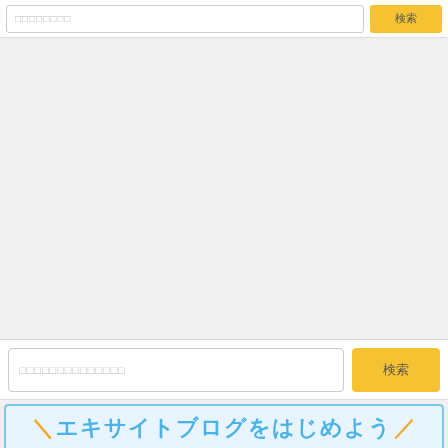[Figure (screenshot): Top search bar with placeholder text and yellow search button]
[Figure (screenshot): Large gray empty content area]
[Figure (screenshot): Bottom search bar with placeholder text and yellow search button]
[Figure (screenshot): Light blue banner with Japanese text 'エキサイトブログをはじめよう' (Start an Excite blog)]